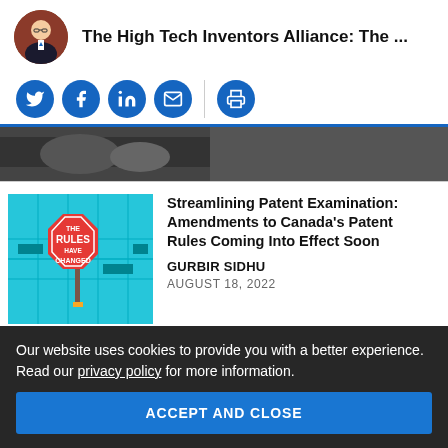The High Tech Inventors Alliance: The ...
[Figure (other): Social sharing icons: Twitter, Facebook, LinkedIn, Email, Print]
[Figure (photo): Partial article header image in grayscale]
[Figure (illustration): Stop sign reading THE RULES HAVE CHANGED on a teal maze background]
Streamlining Patent Examination: Amendments to Canada's Patent Rules Coming Into Effect Soon
GURBIR SIDHU
AUGUST 18, 2022
Our website uses cookies to provide you with a better experience. Read our privacy policy for more information.
ACCEPT AND CLOSE